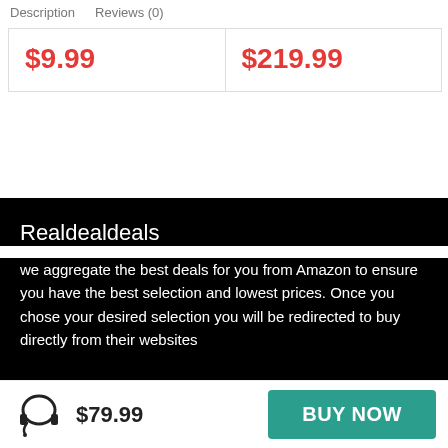Description   Reviews (0)
| $9.99 | $219.99 |
Realdealdeals
we aggregate the best deals for you from Amazon to ensure you have the best selection and lowest prices. Once you chose your desired selection you will be redirected to buy directly from their websites
$79.99
BUY NOW